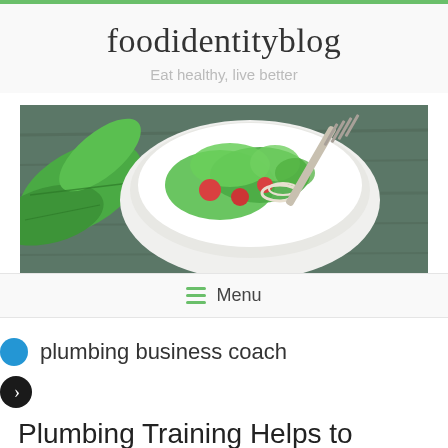foodidentityblog
Eat healthy, live better
[Figure (photo): A white bowl filled with fresh salad including greens, tomatoes, onions, dill, and a fork, photographed from above on a wooden surface with large green leaves on the left side.]
≡ Menu
plumbing business coach
Plumbing Training Helps to Change Career